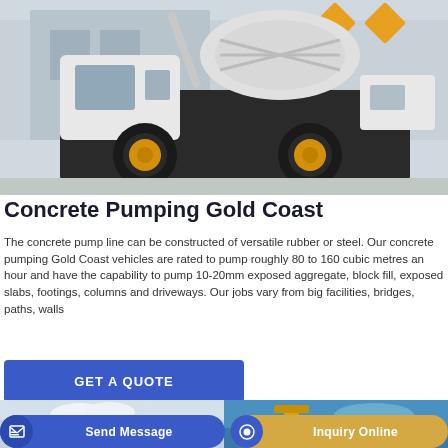[Figure (photo): Concrete pump truck (white, with yellow wheels and drum mixer) parked in an industrial/construction yard.]
Concrete Pumping Gold Coast
The concrete pump line can be constructed of versatile rubber or steel. Our concrete pumping Gold Coast vehicles are rated to pump roughly 80 to 160 cubic metres an hour and have the capability to pump 10-20mm exposed aggregate, block fill, exposed slabs, footings, columns and driveways. Our jobs vary from big facilities, bridges, paths, walls
GET A QUOTE
[Figure (photo): Two small preview photos at the bottom of the page — left shows a lighter construction scene (sky/machinery), right shows a blue-sky construction scene with yellow equipment.]
Send Message
Inquiry Online